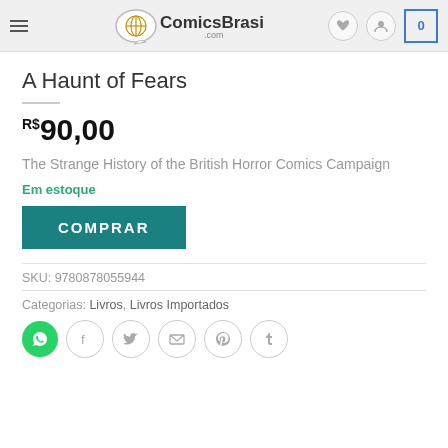ComicsBrasil.com
A Haunt of Fears
R$ 90,00
The Strange History of the British Horror Comics Campaign
Em estoque
COMPRAR
SKU: 9780878055944
Categorias: Livros, Livros Importados